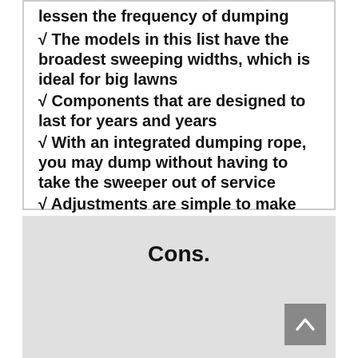√ The models in this list have the broadest sweeping widths, which is ideal for big lawns
√ Components that are designed to last for years and years
√ With an integrated dumping rope, you may dump without having to take the sweeper out of service
√ Adjustments are simple to make
√ The warranty duration is rather long
Cons.